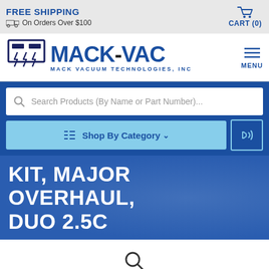FREE SHIPPING On Orders Over $100 | CART (0)
[Figure (logo): Mack-Vac logo with stylized vacuum icon and text MACK-VAC MACK VACUUM TECHNOLOGIES, INC]
Search Products (By Name or Part Number)...
Shop By Category
KIT, MAJOR OVERHAUL, DUO 2.5C
[Figure (other): Search magnifying glass icon on white background]